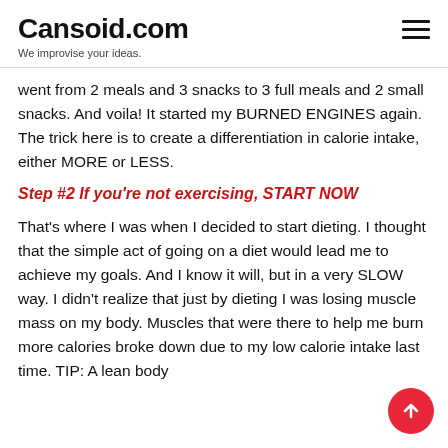Cansoid.com — We improvise your ideas.
went from 2 meals and 3 snacks to 3 full meals and 2 small snacks. And voila! It started my BURNED ENGINES again. The trick here is to create a differentiation in calorie intake, either MORE or LESS.
Step #2 If you're not exercising, START NOW
That's where I was when I decided to start dieting. I thought that the simple act of going on a diet would lead me to achieve my goals. And I know it will, but in a very SLOW way. I didn't realize that just by dieting I was losing muscle mass on my body. Muscles that were there to help me burn more calories broke down due to my low calorie intake last time. TIP: A lean body